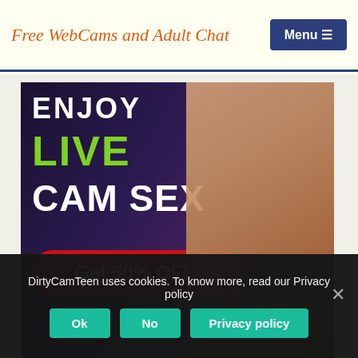Free WebCams and Adult Chat
[Figure (illustration): Adult webcam advertisement banner with text 'ENJOY LIVE CAM SEX' and 'Get 50% OFF!' button, featuring a blonde woman. Dark purple/maroon background.]
Thank You for Beeing Naughty With Us XOXO. Live Sex Chat and XXX Live Porn shows for FREE! No Registration Required - 100% Free Uncensored Adult Sex Chat. Chat with 3000+ Adult
DirtyCamTeen uses cookies. To know more, read our Privacy policy
Ok  No  Privacy policy